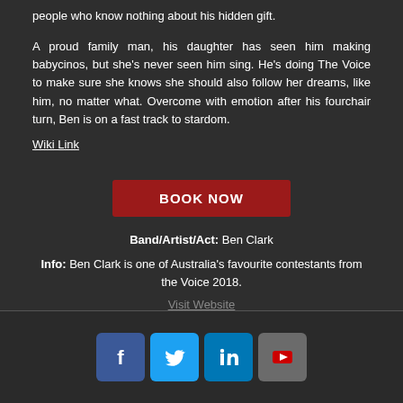people who know nothing about his hidden gift.
A proud family man, his daughter has seen him making babycinos, but she's never seen him sing. He's doing The Voice to make sure she knows she should also follow her dreams, like him, no matter what. Overcome with emotion after his fourchair turn, Ben is on a fast track to stardom.
Wiki Link
BOOK NOW
Band/Artist/Act: Ben Clark
Info: Ben Clark is one of Australia's favourite contestants from the Voice 2018.
Visit Website
[Figure (logo): Social media icons: Facebook, Twitter, LinkedIn, YouTube]